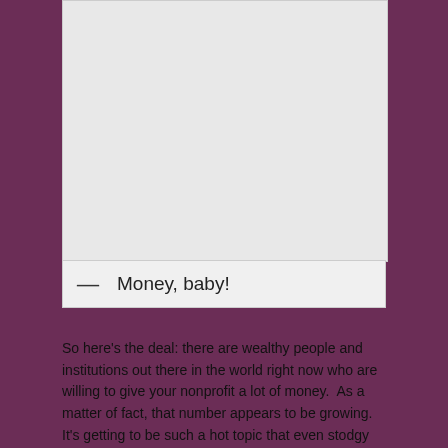[Figure (other): Large light gray placeholder image box]
— Money, baby!
So here’s the deal: there are wealthy people and institutions out there in the world right now who are willing to give your nonprofit a lot of money.  As a matter of fact, that number appears to be growing.  It’s getting to be such a hot topic that even stodgy Forbes is talking about it, KMPG is staking its claim in the Social Impact Bond market, and David